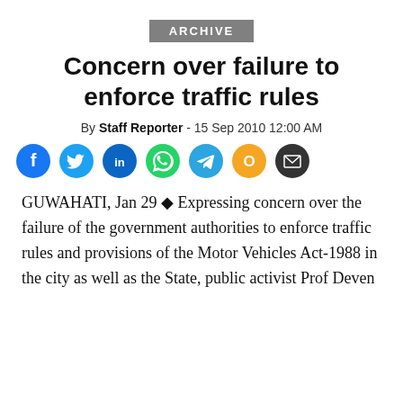ARCHIVE
Concern over failure to enforce traffic rules
By Staff Reporter - 15 Sep 2010 12:00 AM
[Figure (other): Social media sharing icons: Facebook, Twitter, LinkedIn, WhatsApp, Telegram, OKru, Email]
GUWAHATI, Jan 29 ◆ Expressing concern over the failure of the government authorities to enforce traffic rules and provisions of the Motor Vehicles Act-1988 in the city as well as the State, public activist Prof Deven...